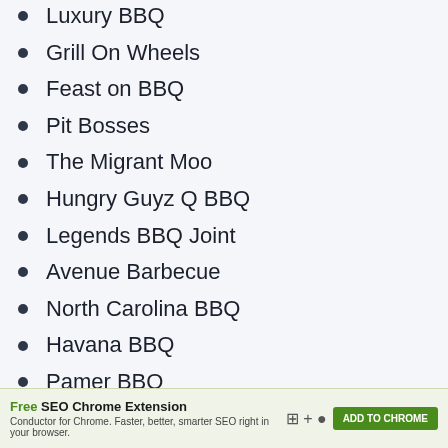Luxury BBQ
Grill On Wheels
Feast on BBQ
Pit Bosses
The Migrant Moo
Hungry Guyz Q BBQ
Legends BBQ Joint
Avenue Barbecue
North Carolina BBQ
Havana BBQ
Pamer BBQ
Fat Boy’s BBQ
Medium Have BBQ
Free SEO Chrome Extension. Conductor for Chrome. Faster, better, smarter SEO right in your browser. ADD TO CHROME